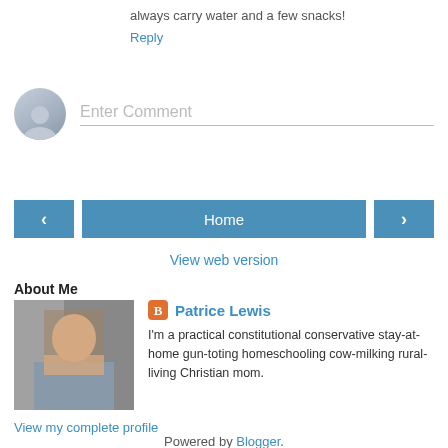always carry water and a few snacks!
Reply
Enter Comment
Home
View web version
About Me
Patrice Lewis
I'm a practical constitutional conservative stay-at-home gun-toting homeschooling cow-milking rural-living Christian mom.
View my complete profile
Powered by Blogger.